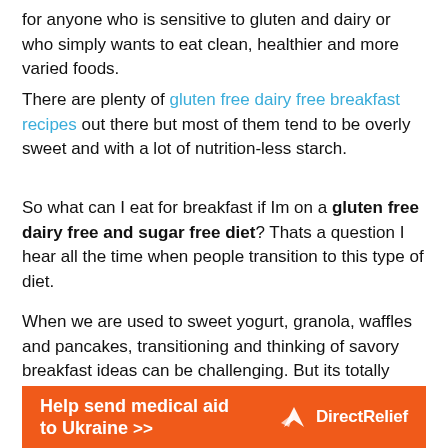for anyone who is sensitive to gluten and dairy or who simply wants to eat clean, healthier and more varied foods.
There are plenty of gluten free dairy free breakfast recipes out there but most of them tend to be overly sweet and with a lot of nutrition-less starch.
So what can I eat for breakfast if Im on a gluten free dairy free and sugar free diet? Thats a question I hear all the time when people transition to this type of diet.
When we are used to sweet yogurt, granola, waffles and pancakes, transitioning and thinking of savory breakfast ideas can be challenging. But its totally doable, the best part is the results improved energy, digestion, and mood!
[Figure (infographic): Orange advertisement banner: 'Help send medical aid to Ukraine >>' with DirectRelief logo on the right]